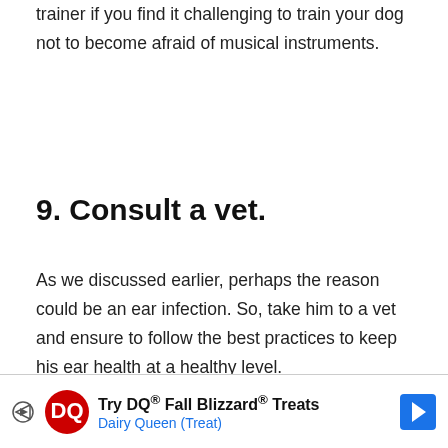trainer if you find it challenging to train your dog not to become afraid of musical instruments.
9. Consult a vet.
As we discussed earlier, perhaps the reason could be an ear infection. So, take him to a vet and ensure to follow the best practices to keep his ear health at a healthy level.
[Figure (screenshot): Video player overlay showing 'No compatible source was found for this media.' with a DQ advertisement banner below reading 'Try DQ® Fall Blizzard® Treats Dairy Queen (Treat)']